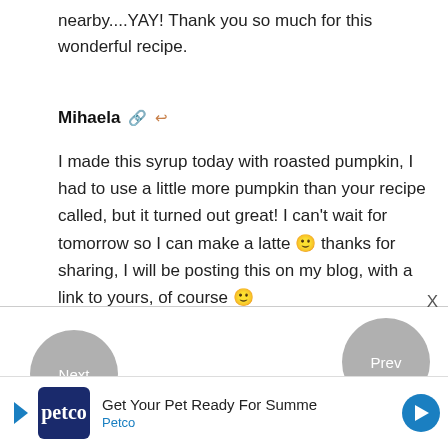nearby....YAY! Thank you so much for this wonderful recipe.
Mihaela
I made this syrup today with roasted pumpkin, I had to use a little more pumpkin than your recipe called, but it turned out great! I can't wait for tomorrow so I can make a latte 🙂 thanks for sharing, I will be posting this on my blog, with a link to yours, of course 🙂
Next
Prev
Clare
[Figure (infographic): Petco advertisement banner: Get Your Pet Ready For Summer - Petco]